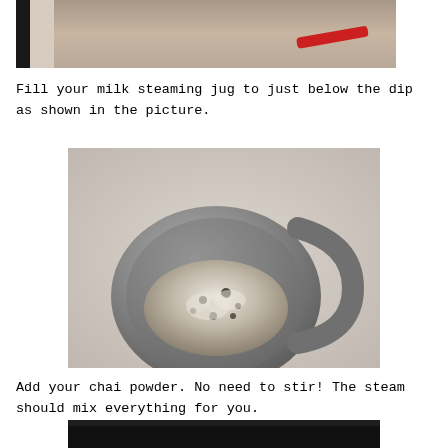[Figure (photo): Top portion of a photo showing cooking equipment with a red handle visible against a light background]
Fill your milk steaming jug to just below the dip as shown in the picture.
[Figure (photo): A stainless steel milk steaming jug viewed from above, containing milk with chai powder sprinkled on top, sitting on a marble surface]
Add your chai powder. No need to stir! The steam should mix everything for you.
[Figure (photo): Bottom portion of another photo, mostly dark/black, showing the beginning of the next step]